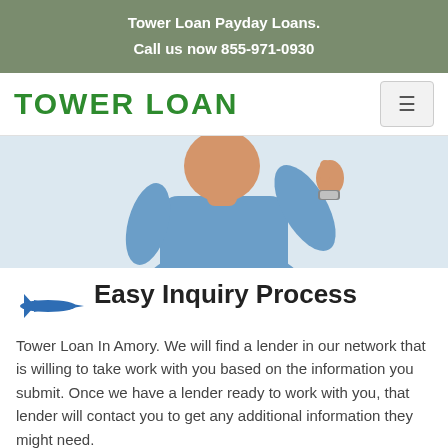Tower Loan Payday Loans.
Call us now 855-971-0930
[Figure (logo): Tower Loan logo text in bold green letters]
[Figure (photo): Man in blue long-sleeve shirt giving thumbs up gesture, upper body visible]
Easy Inquiry Process
Tower Loan In Amory. We will find a lender in our network that is willing to take work with you based on the information you submit. Once we have a lender ready to work with you, that lender will contact you to get any additional information they might need.